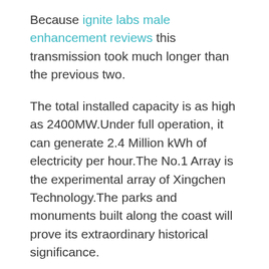Because ignite labs male enhancement reviews this transmission took much longer than the previous two.
The total installed capacity is as high as 2400MW.Under full operation, it can generate 2.4 Million kWh of electricity per hour.The No.1 Array is the experimental array of Xingchen Technology.The parks and monuments built along the coast will prove its extraordinary historical significance.
There are many Neon and Germany.If Panasonic, Sony, Toyota, these big companies erectile dysfunction meds online are the skeleton of neon, then Zhaorong Co.Ltd.Is the blood vessel of neon.You can not see erection pills in stores it, but it is there, continuously supplying blood for neon economy and strengthening erectile dysfunction meds online neon.
This kind of gap is really unnerving.In this industry, all mainland manufacturers rhino7 combined can probably top one Bay Bay